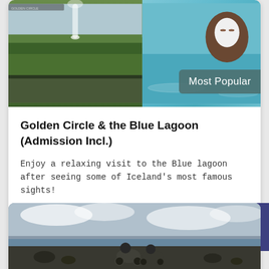[Figure (photo): Hero image split: left side shows a geyser erupting with green landscape; right side shows a woman with a white face mask at the Blue Lagoon with turquoise water]
Most Popular
Golden Circle & the Blue Lagoon (Admission Incl.)
Enjoy a relaxing visit to the Blue lagoon after seeing some of Iceland's most famous sights!
13 hours
from €189
More info
[Figure (photo): Partial photo of ATV riders on a black sand beach in Iceland with dramatic cloudy sky]